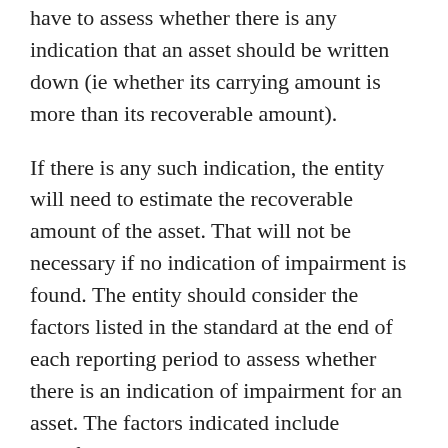have to assess whether there is any indication that an asset should be written down (ie whether its carrying amount is more than its recoverable amount).
If there is any such indication, the entity will need to estimate the recoverable amount of the asset. That will not be necessary if no indication of impairment is found. The entity should consider the factors listed in the standard at the end of each reporting period to assess whether there is an indication of impairment for an asset. The factors indicated include significant decline in market value, increases in market interest rates, evidence of obsolescence or physical damage, deterioration of operating results or cash flows